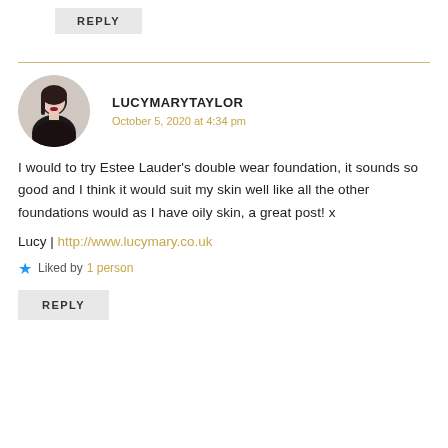REPLY
LUCYMARYTAYLOR
October 5, 2020 at 4:34 pm
I would to try Estee Lauder's double wear foundation, it sounds so good and I think it would suit my skin well like all the other foundations would as I have oily skin, a great post! x
Lucy | http://www.lucymary.co.uk
Liked by 1 person
REPLY